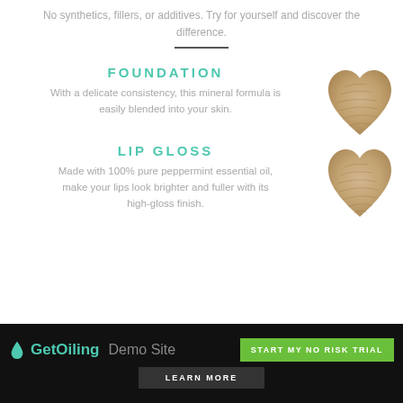No synthetics, fillers, or additives. Try for yourself and discover the difference.
FOUNDATION
With a delicate consistency, this mineral formula is easily blended into your skin.
[Figure (illustration): Heart-shaped swatch of tan/beige foundation makeup]
LIP GLOSS
Made with 100% pure peppermint essential oil, make your lips look brighter and fuller with its high-gloss finish.
[Figure (illustration): Heart-shaped swatch of tan/beige lip gloss product]
GetOiling Demo Site  START MY NO RISK TRIAL  LEARN MORE